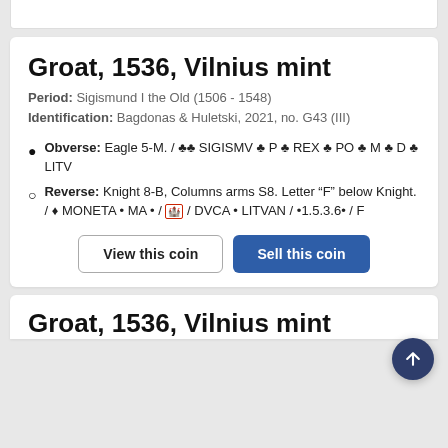Groat, 1536, Vilnius mint
Period: Sigismund I the Old (1506 - 1548)
Identification: Bagdonas & Huletski, 2021, no. G43 (III)
Obverse: Eagle 5-M. / ♣♣ SIGISMV ♣ P ♣ REX ♣ PO ♣ M ♣ D ♣ LITV
Reverse: Knight 8-B, Columns arms S8. Letter "F" below Knight. / ♣ MONETA • MA • / [castle] / DVCA • LITVAN / •1.5.3.6• / F
View this coin | Sell this coin
Groat, 1536, Vilnius mint